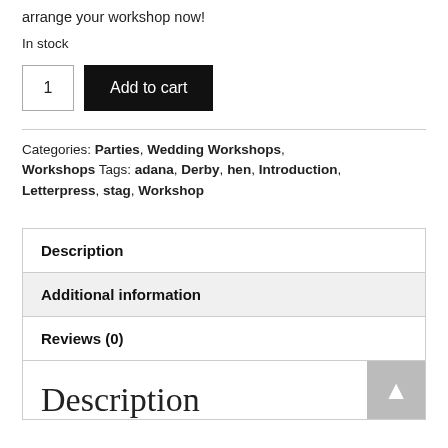arrange your workshop now!
In stock
Categories: Parties, Wedding Workshops, Workshops Tags: adana, Derby, hen, Introduction, Letterpress, stag, Workshop
Description
Additional information
Reviews (0)
Description